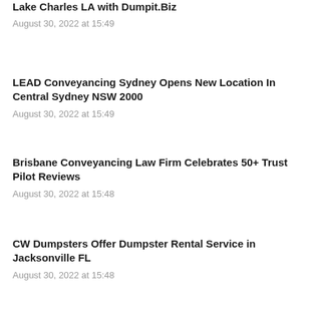Lake Charles LA with Dumpit.Biz
August 30, 2022 at 15:49
LEAD Conveyancing Sydney Opens New Location In Central Sydney NSW 2000
August 30, 2022 at 15:49
Brisbane Conveyancing Law Firm Celebrates 50+ Trust Pilot Reviews
August 30, 2022 at 15:48
CW Dumpsters Offer Dumpster Rental Service in Jacksonville FL
August 30, 2022 at 15:48